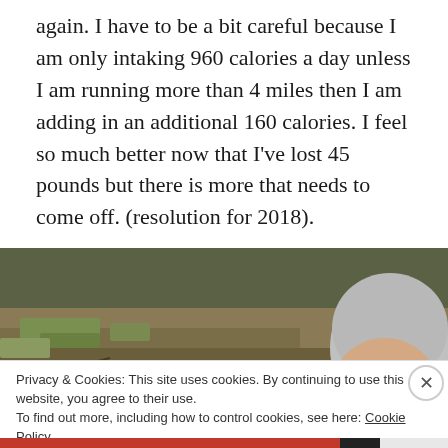again. I have to be a bit careful because I am only intaking 960 calories a day unless I am running more than 4 miles then I am adding in an additional 160 calories. I feel so much better now that I've lost 45 pounds but there is more that needs to come off. (resolution for 2018).
[Figure (photo): Outdoor photo showing a person peeking into frame from the right side wearing a grey beanie hat and glasses, with a natural ground background of dry grass and twigs.]
Privacy & Cookies: This site uses cookies. By continuing to use this website, you agree to their use.
To find out more, including how to control cookies, see here: Cookie Policy
Close and accept